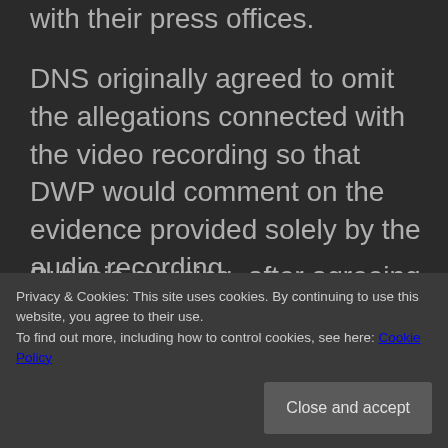with their press offices.
DNS originally agreed to omit the allegations connected with the video recording so that DWP would comment on the evidence provided solely by the audio recording.
But this morning, after agreeing to this and asking for extra time to produce a response
recording.
Privacy & Cookies: This site uses cookies. By continuing to use this website, you agree to their use.
To find out more, including how to control cookies, see here: Cookie Policy
Close and accept